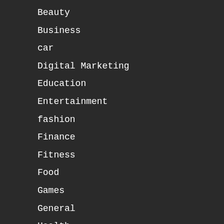Beauty
Business
car
Digital Marketing
Education
Entertainment
fashion
Finance
Fitness
Food
Games
General
Health
Home